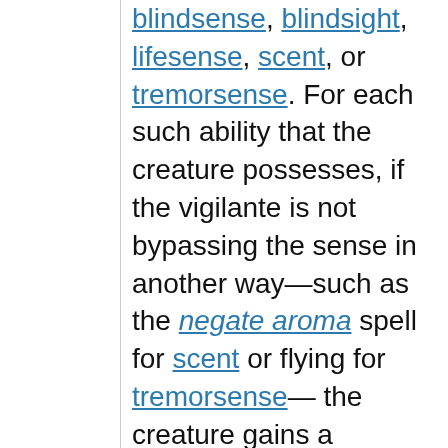blindsense, blindsight, lifesense, scent, or tremorsense. For each such ability that the creature possesses, if the vigilante is not bypassing the sense in another way—such as the negate aroma spell for scent or flying for tremorsense—the creature gains a stacking +20 circumstance bonus on all Perception checks to notice the vigilante, rather than automatically noticing the vigilante. Only a stalker vigilante of at least 6th level can select this talent.
Brutal Maneuver: The first time each round that the vigilante uses a weapon,